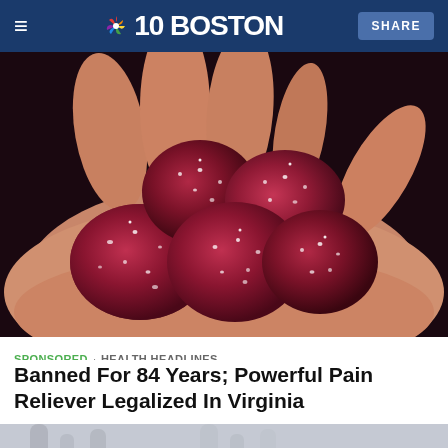≡  NBC10 BOSTON  SHARE
[Figure (photo): Close-up photo of several dark red/maroon gummy candies coated in sugar crystals resting in an open palm]
SPONSORED · HEALTH HEADLINES
Banned For 84 Years; Powerful Pain Reliever Legalized In Virginia
[Figure (photo): Partial view of a dental or medical office setting with equipment arms and a person visible in the lower right]